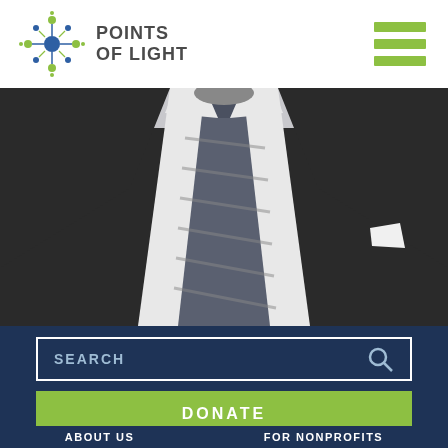[Figure (logo): Points of Light logo with star/dot graphic and bold text reading POINTS OF LIGHT]
[Figure (illustration): Three horizontal green bars forming a hamburger menu icon]
[Figure (photo): Black and white photo of a man in a dark suit with a striped tie, cropped to show torso only with no head visible]
SEARCH
DONATE
ABOUT US
FOR NONPROFITS